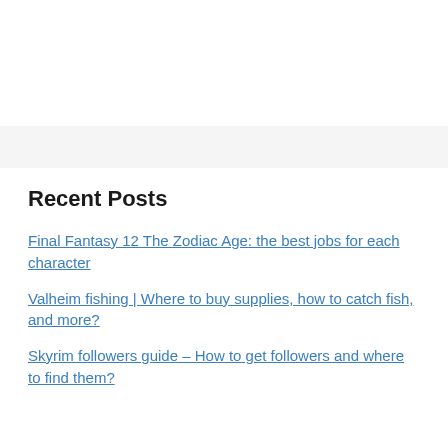Recent Posts
Final Fantasy 12 The Zodiac Age: the best jobs for each character
Valheim fishing | Where to buy supplies, how to catch fish, and more?
Skyrim followers guide – How to get followers and where to find them?